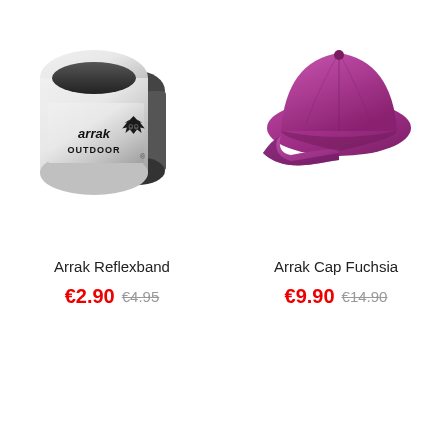[Figure (photo): Arrak Reflexband - silver reflective snap band with Arrak Outdoor logo showing a wolf head]
[Figure (photo): Arrak Cap Fuchsia - a fuchsia/purple baseball cap]
Arrak Reflexband
€2.90  €4.95
Arrak Cap Fuchsia
€9.90  €14.90